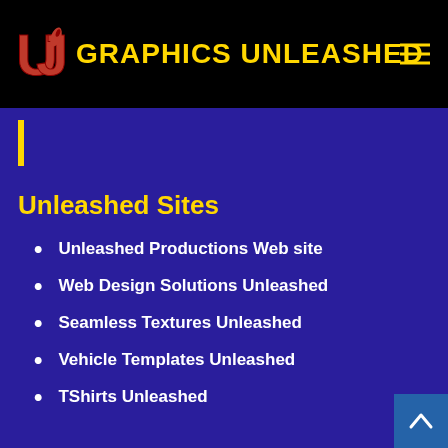GRAPHICS UNLEASHED
Unleashed Sites
Unleashed Productions Web site
Web Design Solutions Unleashed
Seamless Textures Unleashed
Vehicle Templates Unleashed
TShirts Unleashed
We use cookies to ensure that we give you the best experience on our Web site. If you continue to use this site we will assume that you are happy with it.